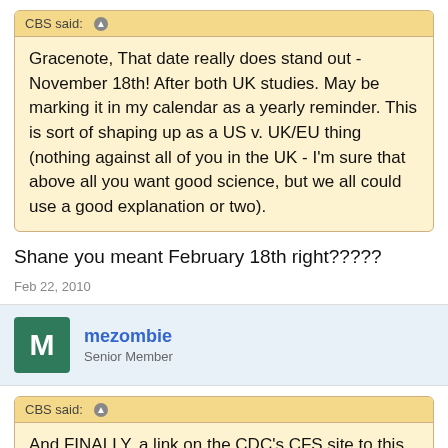CBS said: ↑ [quote header]
Gracenote, That date really does stand out - November 18th! After both UK studies. May be marking it in my calendar as a yearly reminder. This is sort of shaping up as a US v. UK/EU thing (nothing against all of you in the UK - I'm sure that above all you want good science, but we all could use a good explanation or two).
Shane you meant February 18th right?????
Feb 22, 2010
mezombie
Senior Member
CBS said: ↑ [quote header]
And FINALLY, a link on the CDC's CFS site to this XMRV info (http://www.cdc.gov/cfs/ - see top of "News and Highlights" right hand column).